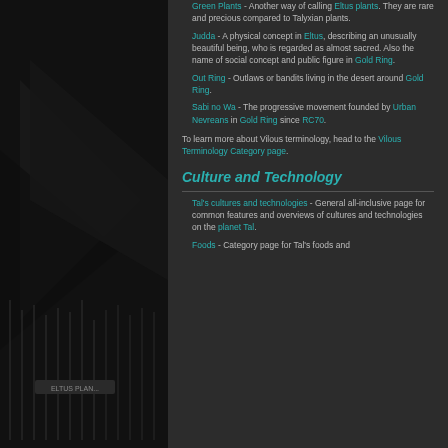Green Plants - Another way of calling Eltus plants. They are rare and precious compared to Talyxian plants.
Judda - A physical concept in Eltus, describing an unusually beautiful being, who is regarded as almost sacred. Also the name of social concept and public figure in Gold Ring.
Out Ring - Outlaws or bandits living in the desert around Gold Ring.
Sabi no Wa - The progressive movement founded by Urban Nevreans in Gold Ring since RC70.
To learn more about Vilous terminology, head to the Vilous Terminology Category page.
Culture and Technology
Tal's cultures and technologies - General all-inclusive page for common features and overviews of cultures and technologies on the planet Tal.
Foods - Category page for Tal's foods and...